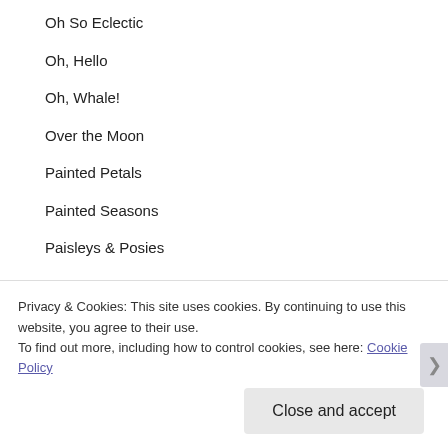Oh So Eclectic
Oh, Hello
Oh, Whale!
Over the Moon
Painted Petals
Painted Seasons
Paisleys & Posies
Papillon Potpourri
Party Pandas
Pattern Play
Privacy & Cookies: This site uses cookies. By continuing to use this website, you agree to their use.
To find out more, including how to control cookies, see here: Cookie Policy
Close and accept